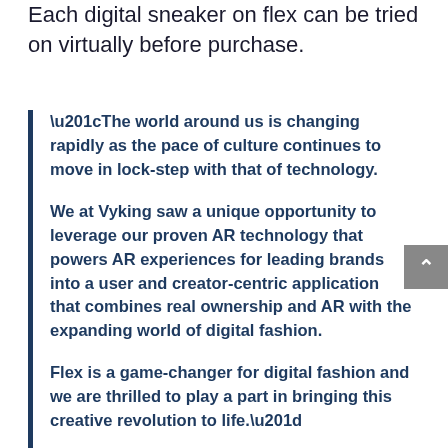Each digital sneaker on flex can be tried on virtually before purchase.
“The world around us is changing rapidly as the pace of culture continues to move in lock-step with that of technology.

We at Vyking saw a unique opportunity to leverage our proven AR technology that powers AR experiences for leading brands into a user and creator-centric application that combines real ownership and AR with the expanding world of digital fashion.

Flex is a game-changer for digital fashion and we are thrilled to play a part in bringing this creative revolution to life.”